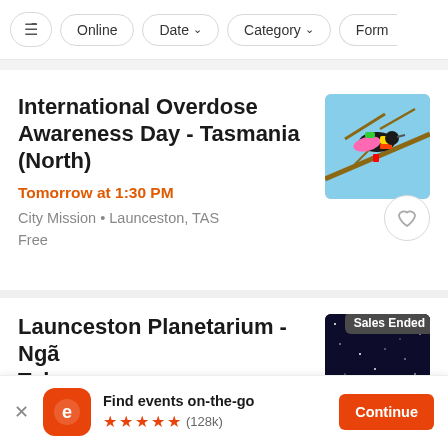Filter bar with: settings icon, Online, Date ▾, Category ▾, Form
International Overdose Awareness Day - Tasmania (North)
Tomorrow at 1:30 PM
City Mission • Launceston, TAS
Free
[Figure (photo): Colourful bird sculpture on tree branches against blue sky]
Launceston Planetarium - Ngã Toka...
[Figure (photo): Dark starry sky background with 'Sales Ended' badge overlay]
Find events on-the-go
★★★★★ (128k)
Continue